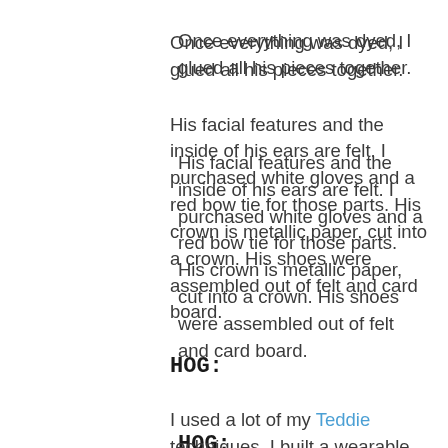Once everything was dyed, I glued all his pieces together.
His facial features and the inside of his ears are felt. I purchased white gloves and a red bow tie for those parts. His crown is metallic paper, cut into a crown. His shoes were assembled out of felt and card board.
HOG:
I used a lot of my Teddie techniques. I built a wearable frame from several hula hoops, covered with a pool noodle. The frame had suspenders,